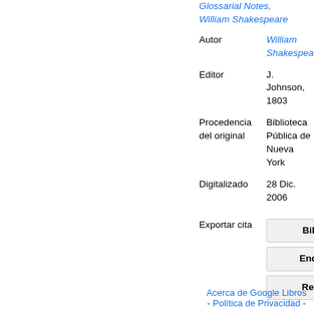Glossarial Notes, William Shakespeare
Autor: William Shakespeare
Editor: J. Johnson, 1803
Procedencia del original: Biblioteca Pública de Nueva York
Digitalizado: 28 Dic. 2006
Exportar cita
BiBTeX
EndNote
RefMan
Acerca de Google Libros - Política de Privacidad -